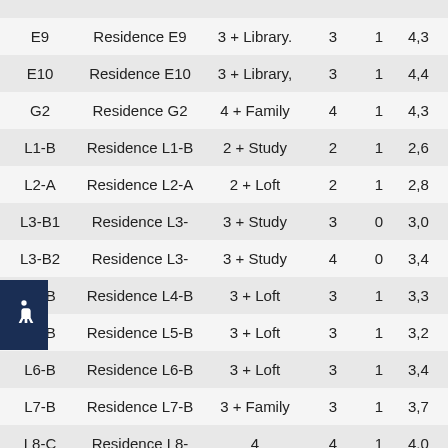| Unit | Name | Type | Beds | Baths | Sq Ft |
| --- | --- | --- | --- | --- | --- |
| E9 | Residence E9 | 3 + Library. | 3 | 1 | 4,3… |
| E10 | Residence E10 | 3 + Library, | 3 | 1 | 4,4… |
| G2 | Residence G2 | 4 + Family | 4 | 1 | 4,3… |
| L1-B | Residence L1-B | 2 + Study | 2 | 1 | 2,6… |
| L2-A | Residence L2-A | 2 + Loft | 2 | 1 | 2,8… |
| L3-B1 | Residence L3- | 3 + Study | 3 | 0 | 3,0… |
| L3-B2 | Residence L3- | 3 + Study | 4 | 0 | 3,4… |
| L4-B | Residence L4-B | 3 + Loft | 3 | 1 | 3,3… |
| L5-B | Residence L5-B | 3 + Loft | 3 | 1 | 3,2… |
| L6-B | Residence L6-B | 3 + Loft | 3 | 1 | 3,4… |
| L7-B | Residence L7-B | 3 + Family | 3 | 1 | 3,7… |
| L8-C | Residence L8- | 4 | 4 | 1 | 4,0… |
| PH2- | Residence PH2- | 4 + Family | 4 | 1 | 4,6… |